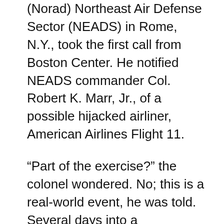(Norad) Northeast Air Defense Sector (NEADS) in Rome, N.Y., took the first call from Boston Center. He notified NEADS commander Col. Robert K. Marr, Jr., of a possible hijacked airliner, American Airlines Flight 11.
“Part of the exercise?” the colonel wondered. No; this is a real-world event, he was told. Several days into a semiannual exercise known as Vigilant Guardian, NEADS was fully staffed, its key officers and enlisted supervisors already manning the operations center “battle cab.”
In retrospect, the exercise would prove to be a serendipitous enabler of a rapid military response to terrorist attacks on Sept. 11. Senior officers involved in Vigilant Guardian were manning Norad command centers throughout the U.S. and Canada, available to make immediate decisions